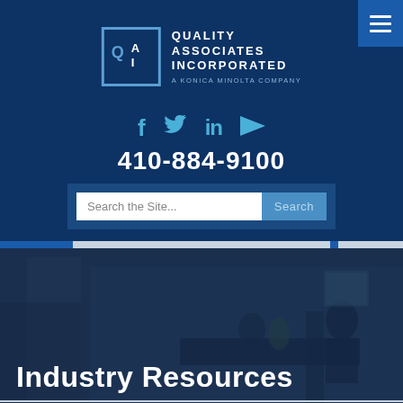[Figure (logo): Quality Associates Incorporated - A Konica Minolta Company logo with QAI letters in a bordered box]
f  🐦  in  ▶
410-884-9100
Search the Site...  Search
Industry Resources